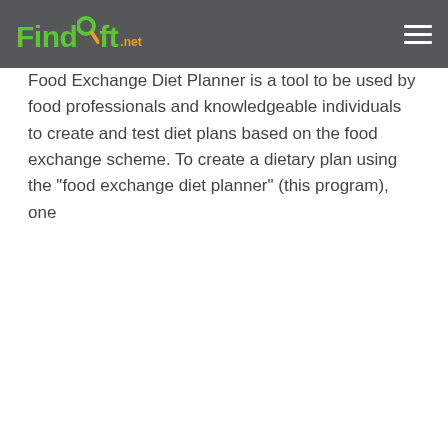FindSoft.net
Food Exchange Diet Planner is a tool to be used by food professionals and knowledgeable individuals to create and test diet plans based on the food exchange scheme. To create a dietary plan using the "food exchange diet planner" (this program), one